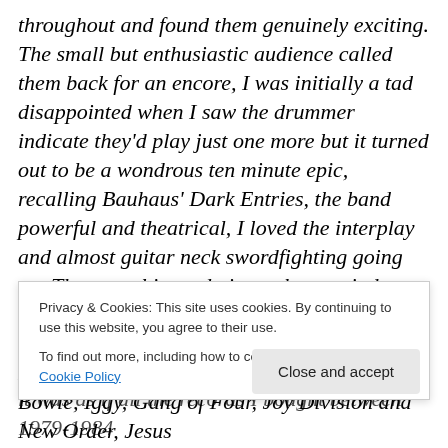throughout and found them genuinely exciting. The small but enthusiastic audience called them back for an encore, I was initially a tad disappointed when I saw the drummer indicate they'd play just one more but it turned out to be a wondrous ten minute epic, recalling Bauhaus' Dark Entries, the band powerful and theatrical, I loved the interplay and almost guitar neck swordfighting going on. There are bits and pieces that remind me of other bands from time to time, but what great references! The Birthday Party, The Fall, Neu!, Suicide, Magazine, Bauhaus, Bowie, Iggy, Gang of Four, Joy Division and New Order, Jesus
Privacy & Cookies: This site uses cookies. By continuing to use this website, you agree to their use. To find out more, including how to control cookies, see here: Cookie Policy
Close and accept
it was as if all the records I bought between 1979-1984